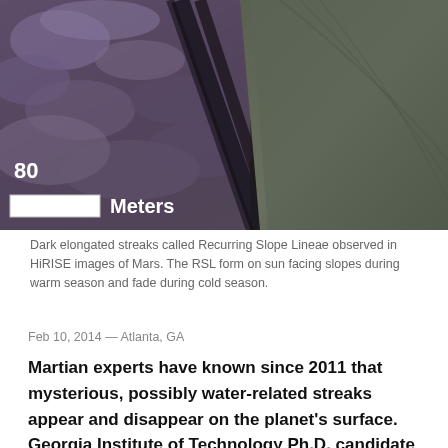[Figure (photo): HiRISE image of Mars showing dark elongated streaks called Recurring Slope Lineae on a steep slope, with a scale bar showing 80 Meters overlaid on the image]
Dark elongated streaks called Recurring Slope Lineae observed in HiRISE images of Mars. The RSL form on sun facing slopes during warm season and fade during cold season.
Feb 10, 2014 — Atlanta, GA
Martian experts have known since 2011 that mysterious, possibly water-related streaks appear and disappear on the planet's surface. Georgia Institute of Technology Ph.D. candidate Lujendra Ojha discovered them while an undergraduate at the University of Arizona. These features were given the descriptive name of recurring slope lineae (RSL) because of their shape, annual reappearance and